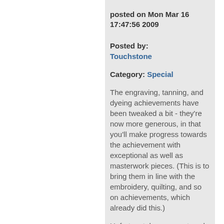posted on Mon Mar 16 17:47:56 2009
Posted by: Touchstone
Category: Special
The engraving, tanning, and dyeing achievements have been tweaked a bit - they're now more generous, in that you'll make progress towards the achievement with exceptional as well as masterwork pieces. (This is to bring them in line with the embroidery, quilting, and so on achievements, which already did this.)
Unfortunately, your past work won't